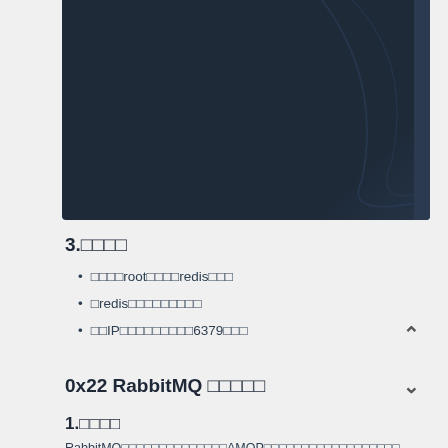[Figure (screenshot): Dark navy blue header/banner area at top of page, part of a web UI]
3.□□□□
□□□□root□□□□redis□□□
□redis□□□□□□□□□
□□IP□□□□□□□□□6379□□□
0x22 RabbitMQ □□□□□
1.□□□□
RabbitMQ□□□□□□□□□□□□□□AMQP□□□□□□□□□□□□□□□□□□ □□□□□□□□□□JSON□□□□□□□□□□JSON□□□□□□□□